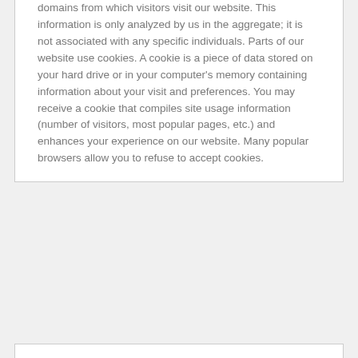domains from which visitors visit our website. This information is only analyzed by us in the aggregate; it is not associated with any specific individuals. Parts of our website use cookies. A cookie is a piece of data stored on your hard drive or in your computer's memory containing information about your visit and preferences. You may receive a cookie that compiles site usage information (number of visitors, most popular pages, etc.) and enhances your experience on our website. Many popular browsers allow you to refuse to accept cookies.